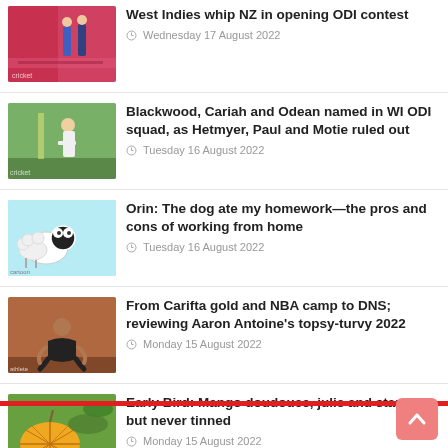West Indies whip NZ in opening ODI contest | Wednesday 17 August 2022
Blackwood, Cariah and Odean named in WI ODI squad, as Hetmyer, Paul and Motie ruled out | Tuesday 16 August 2022
Orin: The dog ate my homework—the pros and cons of working from home | Tuesday 16 August 2022
From Carifta gold and NBA camp to DNS; reviewing Aaron Antoine's topsy-turvy 2022 | Monday 15 August 2022
Early Bird: Mango doudouce, julie and starch—but never tinned | Monday 15 August 2022